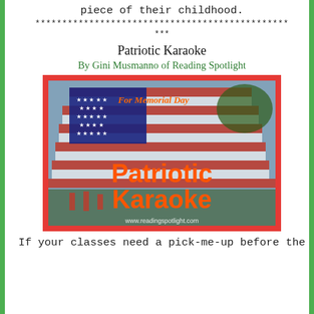piece of their childhood.
***********************************************
***
Patriotic Karaoke
By Gini Musmanno of Reading Spotlight
[Figure (illustration): Book cover image with red border showing American flags in background. Text overlay reads 'For Memorial Day' in italic orange at top right, and 'Patriotic Karaoke' in large bold orange text in center-bottom. Website www.readingspotlight.com shown at bottom.]
If your classes need a pick-me-up before the